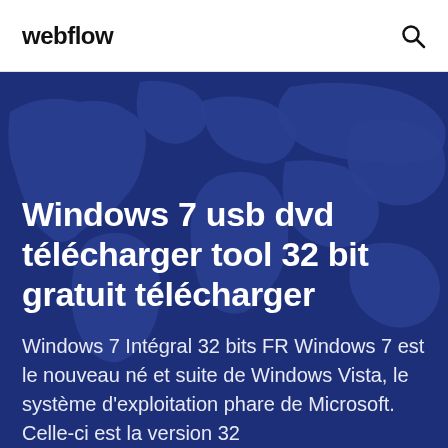webflow
[Figure (illustration): Dark blue world map background illustration used as hero banner background]
Windows 7 usb dvd télécharger tool 32 bit gratuit télécharger
Windows 7 Intégral 32 bits FR Windows 7 est le nouveau né et suite de Windows Vista, le système d'exploitation phare de Microsoft. Celle-ci est la version 32